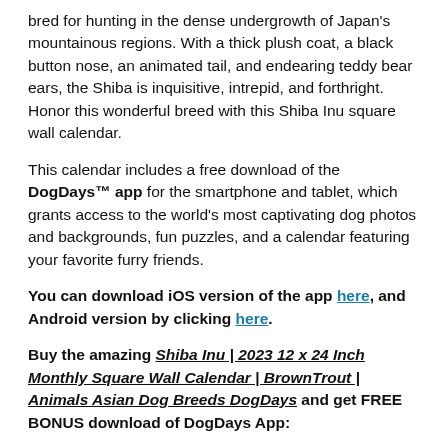bred for hunting in the dense undergrowth of Japan's mountainous regions. With a thick plush coat, a black button nose, an animated tail, and endearing teddy bear ears, the Shiba is inquisitive, intrepid, and forthright. Honor this wonderful breed with this Shiba Inu square wall calendar.
This calendar includes a free download of the DogDays™ app for the smartphone and tablet, which grants access to the world's most captivating dog photos and backgrounds, fun puzzles, and a calendar featuring your favorite furry friends.
You can download iOS version of the app here, and Android version by clicking here.
Buy the amazing Shiba Inu | 2023 12 x 24 Inch Monthly Square Wall Calendar | BrownTrout | Animals Asian Dog Breeds DogDays and get FREE BONUS download of DogDays App: